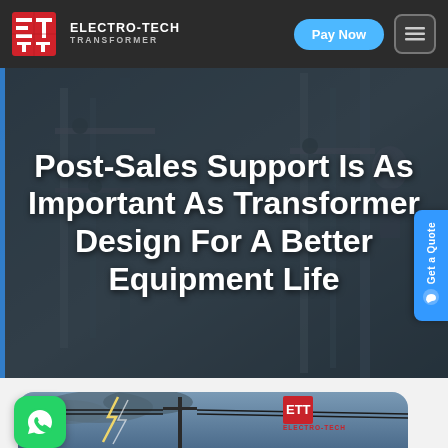ELECTRO-TECH TRANSFORMER — Pay Now — Menu
[Figure (photo): Hero background showing industrial electrical transformer equipment with workers, overlaid with semi-transparent dark tint]
Post-Sales Support Is As Important As Transformer Design For A Better Equipment Life
[Figure (photo): Bottom card showing lightning storm with power lines and ETT Electro-Tech logo in red in the upper right corner]